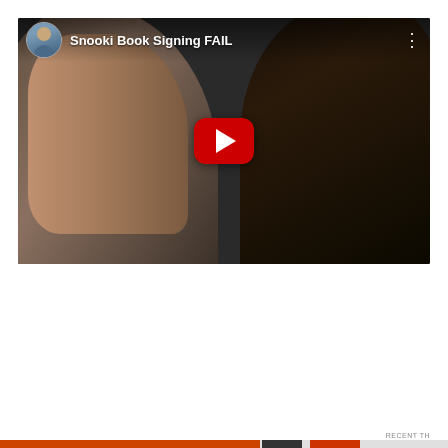[Figure (screenshot): YouTube video thumbnail for 'Snooki Book Signing FAIL' showing two people's faces close together, with a red YouTube play button overlay and channel avatar in the top-left corner.]
Privacy & Cookies: This site uses cookies. By continuing to use this website, you agree to their use.
To find out more, including how to control cookies, see here: Cookie Policy